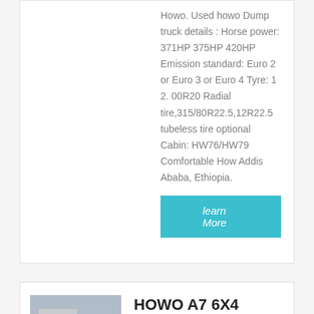Howo. Used howo Dump truck details : Horse power: 371HP 375HP 420HP Emission standard: Euro 2 or Euro 3 or Euro 4 Tyre: 1 2. 00R20 Radial tire,315/80R22.5,12R22.5 tubeless tire optional Cabin: HW76/HW79 Comfortable How Addis Ababa, Ethiopia.
learn More
[Figure (photo): Photo of a silver HOWO A7 6X4 dump truck/tractor unit parked in a lot]
HOWO A7 6X4 371HP Dump Truck with Body White Color